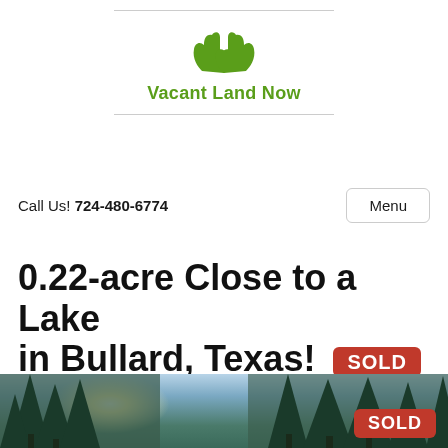[Figure (logo): Vacant Land Now logo with green hands holding land graphic and green text]
Call Us! 724-480-6774
Menu
0.22-acre Close to a Lake in Bullard, Texas! SOLD
$4,900
[Figure (photo): Outdoor photo of wooded land with blue sky, trees silhouetted, SOLD badge overlay in bottom right]